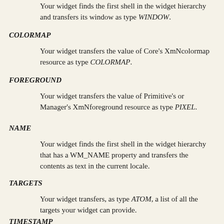Your widget finds the first shell in the widget hierarchy and transfers its window as type WINDOW.
COLORMAP
Your widget transfers the value of Core's XmNcolormap resource as type COLORMAP.
FOREGROUND
Your widget transfers the value of Primitive's or Manager's XmNforeground resource as type PIXEL.
NAME
Your widget finds the first shell in the widget hierarchy that has a WM_NAME property and transfers the contents as text in the current locale.
TARGETS
Your widget transfers, as type ATOM, a list of all the targets your widget can provide.
TIMESTAMP
Your widget transfers the timestamp used to acquire the